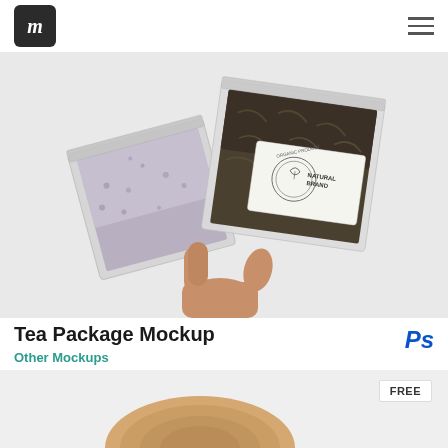im [logo] [hamburger menu]
[Figure (photo): A hand holding two tea packages with dried herbs/tea leaves visible through translucent packaging. One package has a 'Natural Brand' label with organic product text.]
Tea Package Mockup
Ps
Other Mockups
[Figure (photo): Bottom portion of another mockup image showing a wooden slice/coaster on a light background with a FREE badge in the top right corner.]